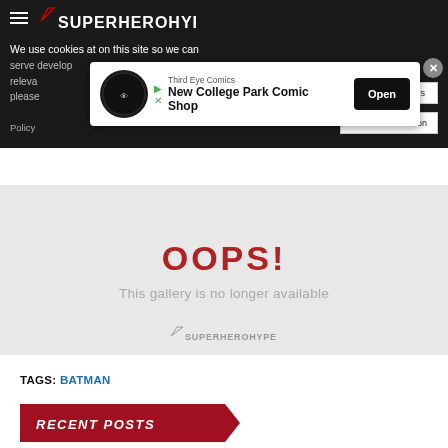SuperHeroHype
We use cookies at on this site so we can serve develop... releva... please... Cookie Information Policy
[Figure (screenshot): Advertisement overlay for Third Eye Comics - New College Park Comic Shop with Open button]
OOPS!
This gallery is no longer available
[Figure (logo): SuperHeroHype watermark logo in gray]
TAGS: BATMAN
RECENT POSTS